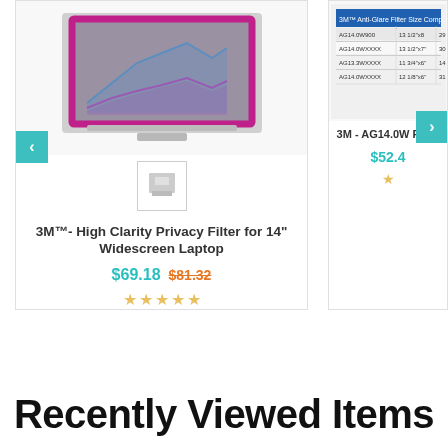[Figure (screenshot): Product card for 3M High Clarity Privacy Filter laptop with product image (laptop with privacy screen), thumbnail image, navigation arrows, product name, prices and star rating]
3M™- High Clarity Privacy Filter for 14" Widescreen Laptop
$69.18  $81.32
[Figure (screenshot): Partial product card for 3M AG14.0W Filter showing product spec image, navigation arrow, product name and price]
3M - AG14.0W Filter
$52.4
Recently Viewed Items